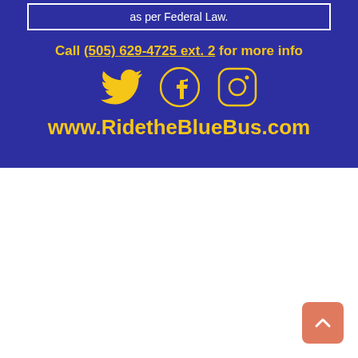as per Federal Law.
Call (505) 629-4725 ext. 2 for more info
[Figure (illustration): Twitter, Facebook, and Instagram social media icons in gold/yellow color on blue background]
www.RidetheBlueBus.com